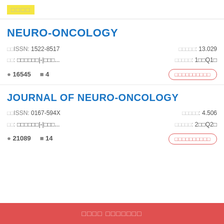□□□□
NEURO-ONCOLOGY
□□ISSN: 1522-8517   □□□□□□: 13.029
□□: □□□□□□□|-|□□□...   □□□□□□: 1□□Q1□
16545   4   □□□□□□□□□□
JOURNAL OF NEURO-ONCOLOGY
□□ISSN: 0167-594X   □□□□□□: 4.506
□□: □□□□□□□|-|□□□...   □□□□□□: 2□□Q2□
21089   14   □□□□□□□□□□
□□□□ □□□□□□□